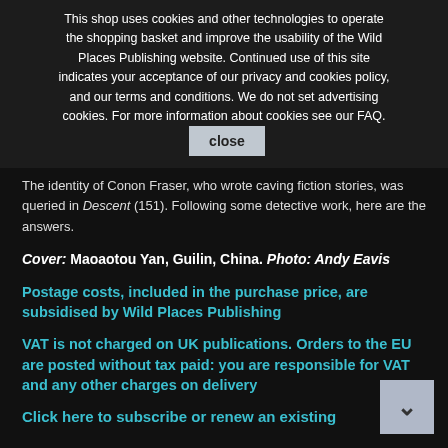This shop uses cookies and other technologies to operate the shopping basket and improve the usability of the Wild Places Publishing website. Continued use of this site indicates your acceptance of our privacy and cookies policy, and our terms and conditions. We do not set advertising cookies. For more information about cookies see our FAQ.
The Adventures of...on
The identity of Conon Fraser, who wrote caving fiction stories, was queried in Descent (151). Following some detective work, here are the answers.
Cover: Maoaotou Yan, Guilin, China. Photo: Andy Eavis
Postage costs, included in the purchase price, are subsidised by Wild Places Publishing
VAT is not charged on UK publications. Orders to the EU are posted without tax paid: you are responsible for VAT and any other charges on delivery
Click here to subscribe or renew an existing